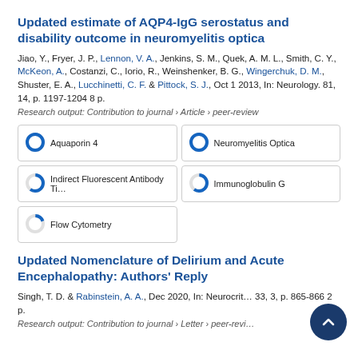Updated estimate of AQP4-IgG serostatus and disability outcome in neuromyelitis optica
Jiao, Y., Fryer, J. P., Lennon, V. A., Jenkins, S. M., Quek, A. M. L., Smith, C. Y., McKeon, A., Costanzi, C., Iorio, R., Weinshenker, B. G., Wingerchuk, D. M., Shuster, E. A., Lucchinetti, C. F. & Pittock, S. J., Oct 1 2013, In: Neurology. 81, 14, p. 1197-1204 8 p.
Research output: Contribution to journal › Article › peer-review
[Figure (infographic): Five keyword badges with donut-style percentage indicators: Aquaporin 4 (100%), Neuromyelitis Optica (100%), Indirect Fluorescent Antibody Ti... (approx 60%), Immunoglobulin G (approx 60%), Flow Cytometry (approx 20%)]
Updated Nomenclature of Delirium and Acute Encephalopathy: Authors' Reply
Singh, T. D. & Rabinstein, A. A., Dec 2020, In: Neurocrit... 33, 3, p. 865-866 2 p.
Research output: Contribution to journal › Letter › peer-review